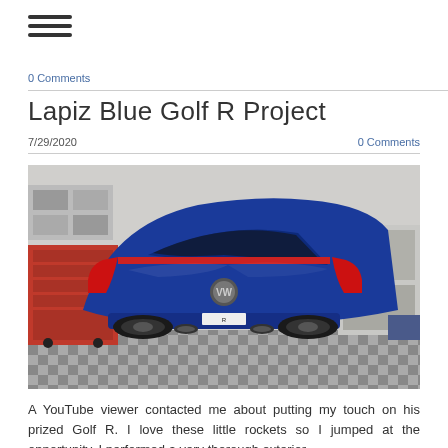≡
0 Comments
Lapiz Blue Golf R Project
7/29/2020    0 Comments
[Figure (photo): Rear three-quarter view of a Lapiz Blue Volkswagen Golf R parked in a garage with checkered floor tiles and red tool cabinets in the background.]
A YouTube viewer contacted me about putting my touch on his prized Golf R. I love these little rockets so I jumped at the opportunity. I performed a very thorough exterior